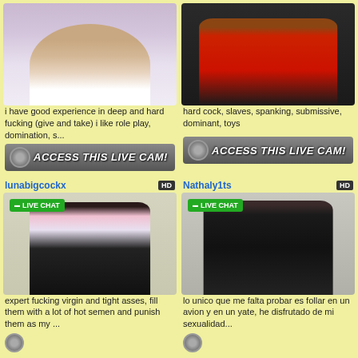[Figure (photo): Young woman with long brown hair wearing white sweater, webcam style photo]
i have good experience in deep and hard fucking (give and take) i like role play, domination, s...
[Figure (other): ACCESS THIS LIVE CAM! button with logo]
[Figure (photo): Woman in red outfit sitting on black leather couch]
hard cock, slaves, spanking, submissive, dominant, toys
[Figure (other): ACCESS THIS LIVE CAM! button with logo]
lunabigcockx
[Figure (photo): Person with short dark hair wearing lace top and black bra, LIVE CHAT badge]
expert fucking virgin and tight asses, fill them with a lot of hot semen and punish them as my ...
Nathaly1ts
[Figure (photo): Woman in black leather outfit posing against brick wall, LIVE CHAT badge]
lo unico que me falta probar es follar en un avion y en un yate, he disfrutado de mi sexualidad...